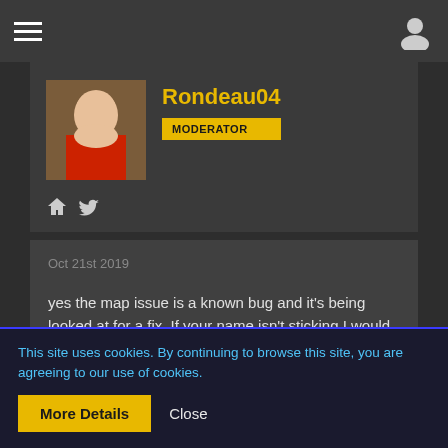Navigation bar with hamburger menu and user icon
Rondeau04
MODERATOR
Oct 21st 2019
yes the map issue is a known bug and it's being looked at for a fix. If your name isn't sticking I would say contact support to see if there is a reason why your sever name isn't working correctly.
This site uses cookies. By continuing to browse this site, you are agreeing to our use of cookies.
More Details
Close